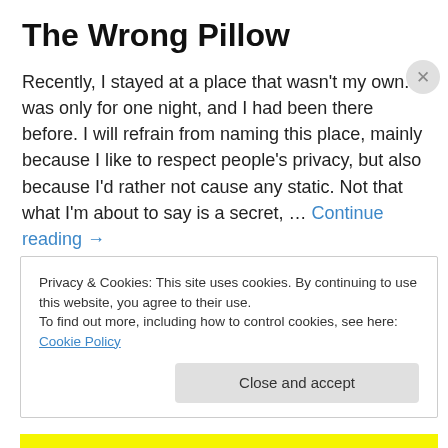The Wrong Pillow
Recently, I stayed at a place that wasn't my own.  It was only for one night, and I had been there before.  I will refrain from naming this place, mainly because I like to respect people's privacy, but also because I'd rather not cause any static.  Not that what I'm about to say is a secret, … Continue reading →
20 August 2012
6 Replies
Privacy & Cookies: This site uses cookies. By continuing to use this website, you agree to their use.
To find out more, including how to control cookies, see here: Cookie Policy
Close and accept